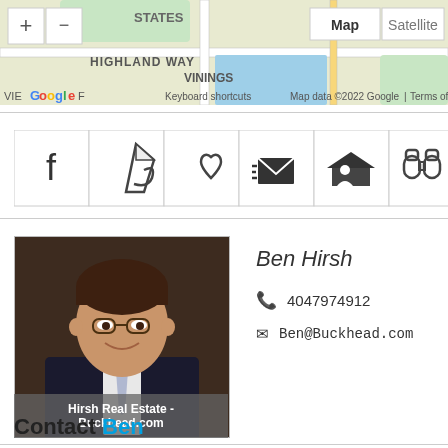[Figure (screenshot): Google Maps screenshot showing Highland Way and Vinings area with map/satellite toggle buttons and Google branding]
[Figure (infographic): Row of 6 icon buttons: Facebook, PDF/document, heart/favorite, email, home with person, binoculars]
[Figure (photo): Portrait photo of Ben Hirsh, a man in a suit and tie, smiling]
Hirsh Real Estate - Buckhead.com
Ben Hirsh
4047974912
Ben@Buckhead.com
Contact Ben